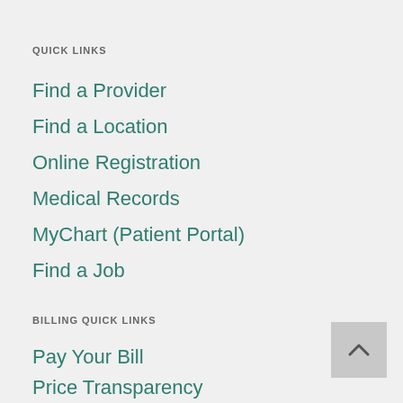QUICK LINKS
Find a Provider
Find a Location
Online Registration
Medical Records
MyChart (Patient Portal)
Find a Job
BILLING QUICK LINKS
Pay Your Bill
Price Transparency
Good Faith Estimate